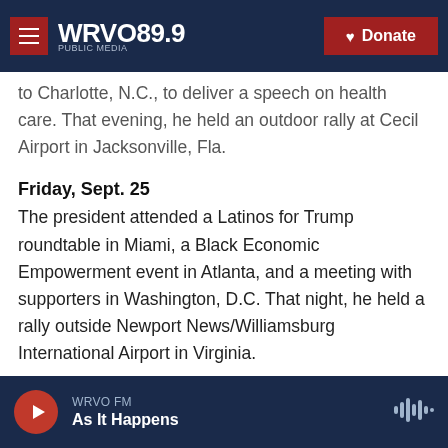WRVO PUBLIC MEDIA 89.9 | Donate
to Charlotte, N.C., to deliver a speech on health care. That evening, he held an outdoor rally at Cecil Airport in Jacksonville, Fla.
Friday, Sept. 25
The president attended a Latinos for Trump roundtable in Miami, a Black Economic Empowerment event in Atlanta, and a meeting with supporters in Washington, D.C. That night, he held a rally outside Newport News/Williamsburg International Airport in Virginia.
Saturday, Sept. 26
WRVO FM | As It Happens